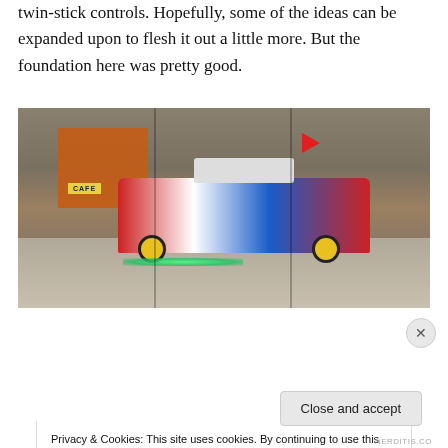twin-stick controls. Hopefully, some of the ideas can be expanded upon to flesh it out a little more. But the foundation here was pretty good.
[Figure (photo): Convention hall interior showing a decorated car with colorful wrap (red, white, blue, checkered pattern) on display inside a venue. The car has yellow wheels and colored underglow lighting. A red flag is visible above it. A CAFE sign is visible on the left. Crowd of people visible in the background. Orange cone course surrounds the car.]
Privacy & Cookies: This site uses cookies. By continuing to use this website, you agree to their use.
To find out more, including how to control cookies, see here: Cookie Policy
Close and accept